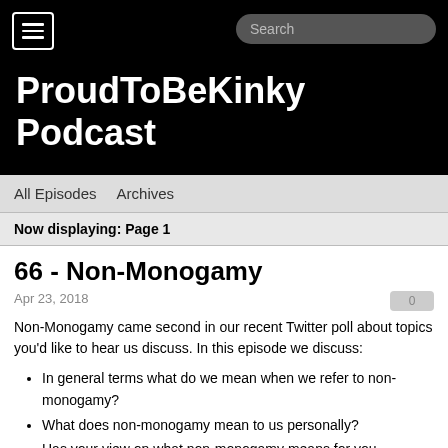ProudToBeKinky Podcast
All Episodes   Archives
Now displaying: Page 1
66 - Non-Monogamy
Apr 23, 2018
Non-Monogamy came second in our recent Twitter poll about topics you'd like to hear us discuss. In this episode we discuss:
In general terms what do we mean when we refer to non-monogamy?
What does non-monogamy mean to us personally?
Has your view on what non-monogamy means for you changed with your experiences?
What resources have been beneficial in your non-monogamy journey?
What new terms did we learn when we started to embrace non-